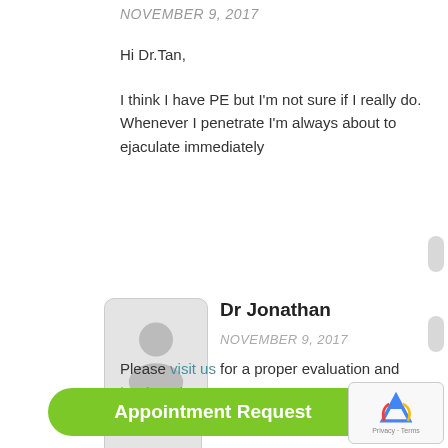NOVEMBER 9, 2017
Hi Dr.Tan,
I think I have PE but I'm not sure if I really do. Whenever I penetrate I'm always about to ejaculate immediately
[Figure (photo): User avatar placeholder icon - grey silhouette of a person]
Dr Jonathan
NOVEMBER 9, 2017
Please visit us for a proper evaluation and treatment.
[Figure (other): Appointment Request green button]
[Figure (other): reCAPTCHA widget with Privacy and Terms links]